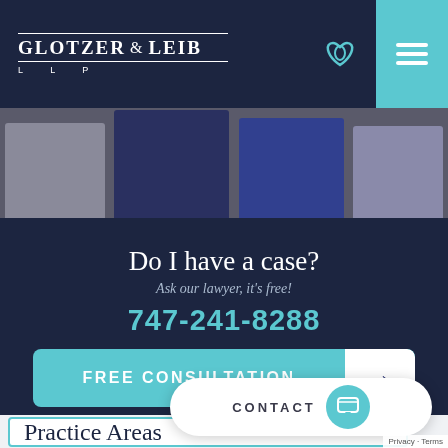GLOTZER & LEIB LLP
[Figure (photo): Three people in suits, partial view from waist down]
Do I have a case?
Ask our lawyer, it's free!
747-241-8288
FREE CONSULTATION
Practice Areas
CONTACT